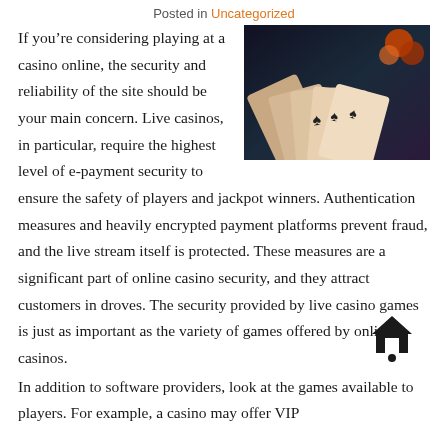Posted in Uncategorized
[Figure (photo): Playing cards (royal flush) fanned out on a dark table with casino chips and orange object]
If you’re considering playing at a casino online, the security and reliability of the site should be your main concern. Live casinos, in particular, require the highest level of e-payment security to ensure the safety of players and jackpot winners. Authentication measures and heavily encrypted payment platforms prevent fraud, and the live stream itself is protected. These measures are a significant part of online casino security, and they attract customers in droves. The security provided by live casino games is just as important as the variety of games offered by online casinos.
[Figure (illustration): House icon with location pin dot below it]
In addition to software providers, look at the games available to players. For example, a casino may offer VIP